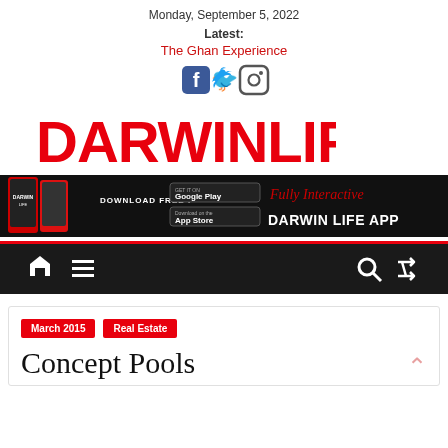Monday, September 5, 2022
Latest:
The Ghan Experience
[Figure (logo): Social media icons: Facebook, Twitter, Instagram]
[Figure (logo): DARWINLIFE logo in red bold text]
[Figure (infographic): Darwin Life App download banner with Google Play and App Store buttons, phone graphic, and Fully Interactive Darwin Life App text]
[Figure (infographic): Navigation bar with home icon, menu icon, search icon, and shuffle icon on dark background]
March 2015
Real Estate
Concept Pools